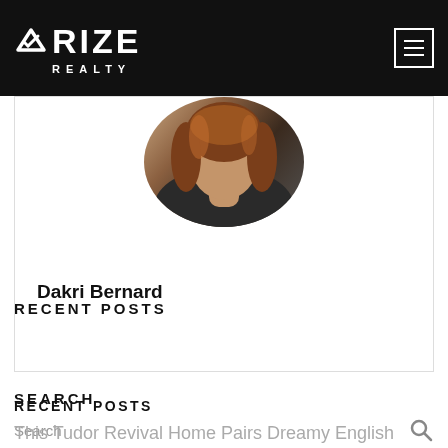RIZE REALTY
[Figure (photo): Circular profile photo of Dakri Bernard showing head and shoulders with brown hair]
Dakri Bernard
SEARCH
Search
RECENT POSTS
This Tudor Revival Home Pairs Dreamy English Architecture with Modern Touches
3 Reasons Why You Need to See THIS Idaho Land Listing